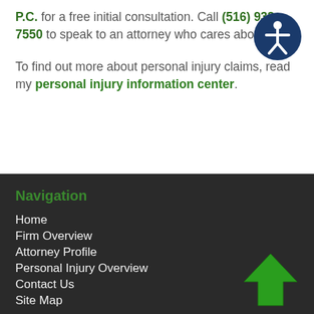P.C. for a free initial consultation. Call (516) 933-7550 to speak to an attorney who cares about you.
To find out more about personal injury claims, read my personal injury information center.
[Figure (illustration): Accessibility icon: dark blue circle with white stylized person figure]
Navigation
Home
Firm Overview
Attorney Profile
Personal Injury Overview
Contact Us
Site Map
[Figure (illustration): Green upward-pointing arrow icon]